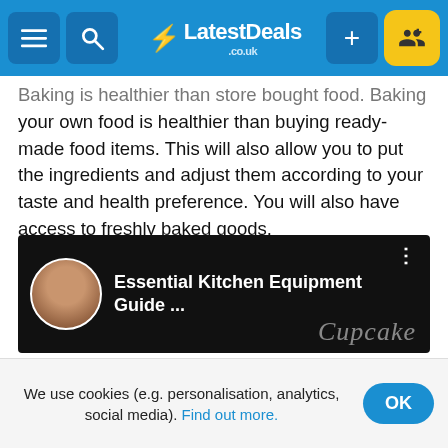LatestDeals.co.uk
Baking is healthier than store bought food. Baking your own food is healthier than buying ready-made food items. This will also allow you to put the ingredients and adjust them according to your taste and health preference. You will also have access to freshly baked goods.
Baking with other people creates future memories. Baking with friends and families is also an excellent bonding activity. It gives you the opportunity to talk to people and laugh together. The kitchen is a wonderful place to make unforgettable memories.
[Figure (screenshot): YouTube-style video thumbnail showing 'Essential Kitchen Equipment Guide ...' with a circular avatar photo of a person and 'Cupcake' watermark text on dark background]
We use cookies (e.g. personalisation, analytics, social media). Find out more.